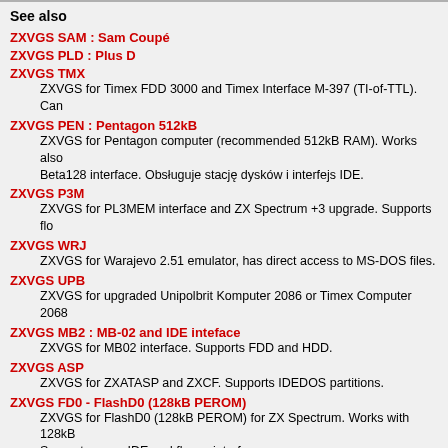See also
ZXVGS SAM : Sam Coupé
ZXVGS PLD : Plus D
ZXVGS TMX
ZXVGS for Timex FDD 3000 and Timex Interface M-397 (TI-of-TTL). Can
ZXVGS PEN : Pentagon 512kB
ZXVGS for Pentagon computer (recommended 512kB RAM). Works also
Beta128 interface. Obsługuje stację dysków i interfejs IDE.
ZXVGS P3M
ZXVGS for PL3MEM interface and ZX Spectrum +3 upgrade. Supports flo
ZXVGS WRJ
ZXVGS for Warajevo 2.51 emulator, has direct access to MS-DOS files.
ZXVGS UPB
ZXVGS for upgraded Unipolbrit Komputer 2086 or Timex Computer 2068
ZXVGS MB2 : MB-02 and IDE inteface
ZXVGS for MB02 interface. Supports FDD and HDD.
ZXVGS ASP
ZXVGS for ZXATASP and ZXCF. Supports IDEDOS partitions.
ZXVGS FD0 - FlashD0 (128kB PEROM)
ZXVGS for FlashD0 (128kB PEROM) for ZX Spectrum. Works with 128kB
Supports many IDE and floppy interfaces.
If you see error on this page, describe here:
© 2009-12-28 21:50 Jarek Adamski, http://8bit.yarek.pl